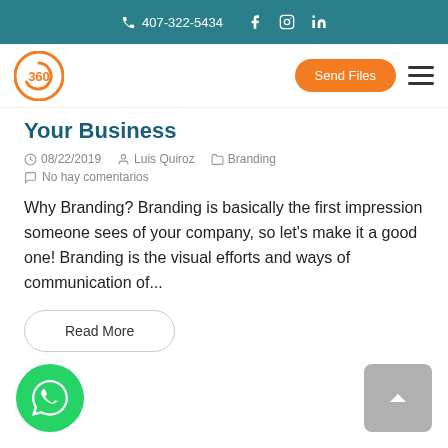407-322-5434
Your Business
08/22/2019   Luis Quiroz   Branding
No hay comentarios
Why Branding? Branding is basically the first impression someone sees of your company, so let's make it a good one! Branding is the visual efforts and ways of communication of...
Read More